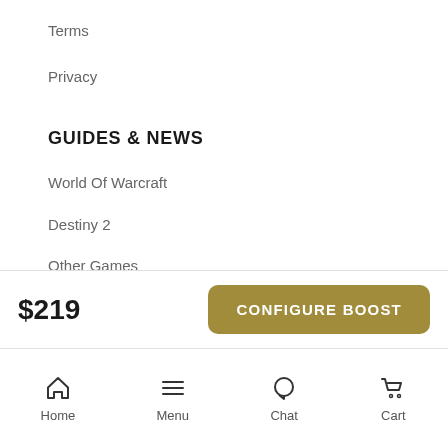Terms
Privacy
GUIDES & NEWS
World Of Warcraft
Destiny 2
Other Games
WOW SHADOWLANDS
Fated Raids
Mythic+ Dungeons
$219
CONFIGURE BOOST
Home  Menu  Chat  Cart